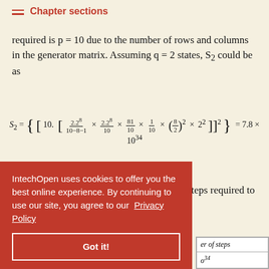Chapter sections
required is p = 10 due to the number of rows and columns in the generator matrix. Assuming q = 2 states, S₂ could be as
Table 6 gives a summary of the number of steps required to break the (8, 8, 2) 2-cascaded attack.
IntechOpen uses cookies to offer you the best online experience. By continuing to use our site, you agree to our Privacy Policy
| er of steps |
| --- |
| o³⁴ |